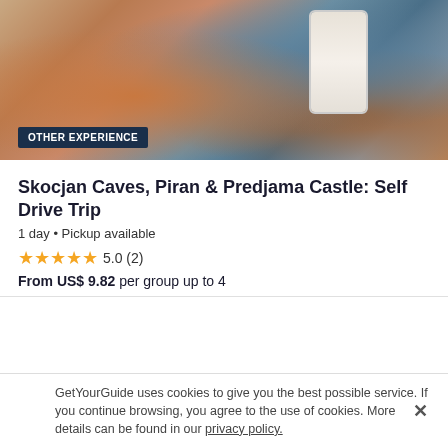[Figure (photo): Aerial view of a coastal town with orange rooftops and a hand holding a smartphone showing the GetYourGuide app]
OTHER EXPERIENCE
Skocjan Caves, Piran & Predjama Castle: Self Drive Trip
1 day • Pickup available
5.0 (2)
From US$ 9.82 per group up to 4
[Figure (photo): Harbor scene with colorful wooden boats moored at a marina with reflections in calm water]
HOP-ON HOP-OFF TOUR
GetYourGuide uses cookies to give you the best possible service. If you continue browsing, you agree to the use of cookies. More details can be found in our privacy policy.